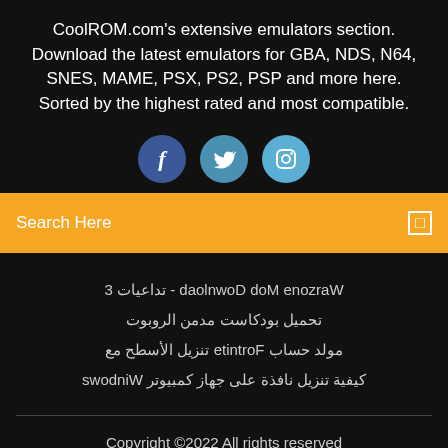CoolROM.com's extensive emulators section. Download the latest emulators for GBA, NDS, N64, SNES, MAME, PSX, PS2, PSP and more here. Sorted by the highest rated and most compatible.
[Figure (illustration): Three social media icon buttons: Facebook (dark blue circle with f), Twitter (medium blue circle with bird icon), Instagram (light blue circle with camera icon)]
Search Here
Warzone Mod Download - تداعيات 3
تحميل بودكاست مدمن الروبوت
مولد حساب Fortnite تنزيل الأسطح مع
كيفية تنزيل نافذة على جهاز كمبيوتر Windows
Copyright ©2022 All rights reserved